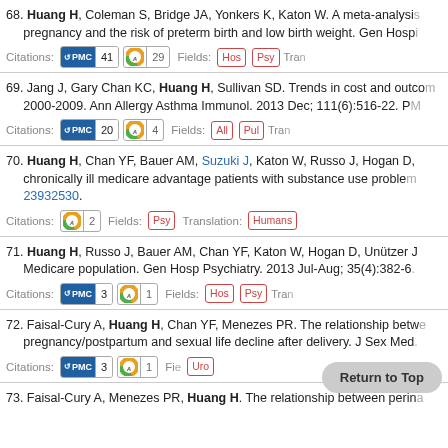68. Huang H, Coleman S, Bridge JA, Yonkers K, Katon W. A meta-analysis pregnancy and the risk of preterm birth and low birth weight. Gen Hosp Citations: PMC 41, Altmetric 29, Fields: Hos Psy Tra
69. Jang J, Gary Chan KC, Huang H, Sullivan SD. Trends in cost and outcomes 2000-2009. Ann Allergy Asthma Immunol. 2013 Dec; 111(6):516-22. Citations: PMC 20, Altmetric 4, Fields: All Pul Tra
70. Huang H, Chan YF, Bauer AM, Suzuki J, Katon W, Russo J, Hogan D, chronically ill medicare advantage patients with substance use problems 23932530. Citations: Altmetric 2, Fields: Psy, Translation: Humans
71. Huang H, Russo J, Bauer AM, Chan YF, Katon W, Hogan D, Unützer J Medicare population. Gen Hosp Psychiatry. 2013 Jul-Aug; 35(4):382-6. Citations: PMC 3, Altmetric 1, Fields: Hos Psy Tra
72. Faisal-Cury A, Huang H, Chan YF, Menezes PR. The relationship between pregnancy/postpartum and sexual life decline after delivery. J Sex Med. Citations: PMC 3, Altmetric 1, Fields: Uro
73. Faisal-Cury A, Menezes PR, Huang H. The relationship between perinatal